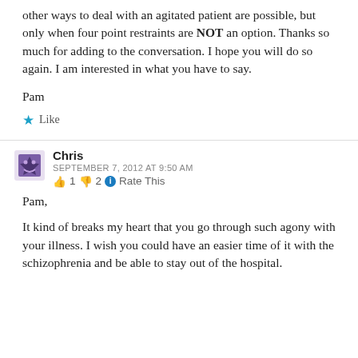other ways to deal with an agitated patient are possible, but only when four point restraints are NOT an option. Thanks so much for adding to the conversation. I hope you will do so again. I am interested in what you have to say.
Pam
★ Like
Chris
SEPTEMBER 7, 2012 AT 9:50 AM
👍 1 👎 2 🔵 Rate This
Pam,
It kind of breaks my heart that you go through such agony with your illness. I wish you could have an easier time of it with the schizophrenia and be able to stay out of the hospital.